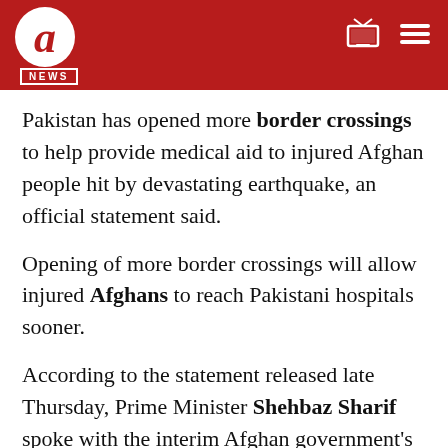a NEWS
Pakistan has opened more border crossings to help provide medical aid to injured Afghan people hit by devastating earthquake, an official statement said.
Opening of more border crossings will allow injured Afghans to reach Pakistani hospitals sooner.
According to the statement released late Thursday, Prime Minister Shehbaz Sharif spoke with the interim Afghan government's acting Prime Minister Mullah Mohammad Hassan Akhund on Thursday evening and informed him about Pakistan's decision.
"Prime Minister conveyed that Ghulam Khan and Angoor Adda border crossing points have been opened for the transportation of the seriously